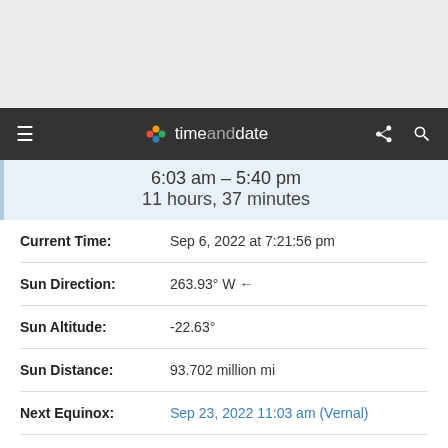timeanddate navigation bar
6:03 am – 5:40 pm
11 hours, 37 minutes
| Field | Value |
| --- | --- |
| Current Time: | Sep 6, 2022 at 7:21:56 pm |
| Sun Direction: | 263.93° W ← |
| Sun Altitude: | -22.63° |
| Sun Distance: | 93.702 million mi |
| Next Equinox: | Sep 23, 2022 11:03 am (Vernal) |
| Sunrise Today: | 6:03 am → 83° East |